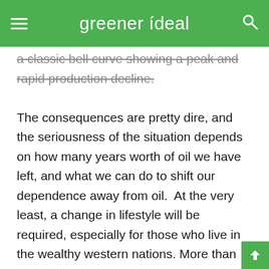greener ideal
a classic bell curve showing a peak and rapid production decline.

The consequences are pretty dire, and the seriousness of the situation depends on how many years worth of oil we have left, and what we can do to shift our dependence away from oil. At the very least, a change in lifestyle will be required, especially for those who live in the wealthy western nations. More than that, though, entire economies will have to shift. Iceland has gotten a start on this process, with its plans to be fossil-fuel-free by 2050. However, Iceland is small, both in geographical size